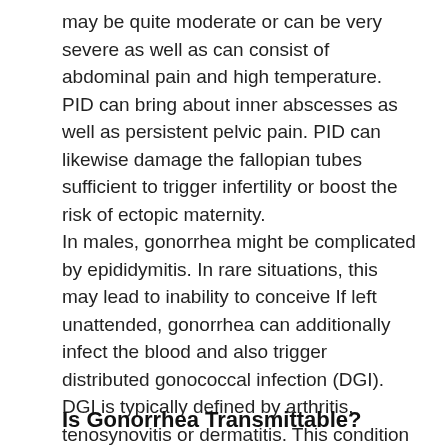may be quite moderate or can be very severe as well as can consist of abdominal pain and high temperature. PID can bring about inner abscesses as well as persistent pelvic pain. PID can likewise damage the fallopian tubes sufficient to trigger infertility or boost the risk of ectopic maternity.
In males, gonorrhea might be complicated by epididymitis. In rare situations, this may lead to inability to conceive If left unattended, gonorrhea can additionally infect the blood and also trigger distributed gonococcal infection (DGI). DGI is typically defined by arthritis, tenosynovitis or dermatitis. This condition can be dangerous.
Is Gonorrhea Transmittable?